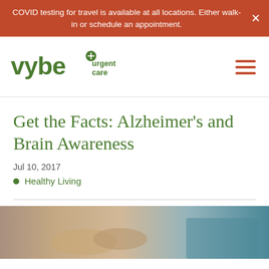COVID testing for travel is available at all locations. Either walk-in or schedule an appointment.
[Figure (logo): vybe urgent care logo in green with a plus sign icon]
Get the Facts: Alzheimer’s and Brain Awareness
Jul 10, 2017
Healthy Living
[Figure (photo): Close-up photo of elderly person's hands being held, with a person in teal clothing visible]